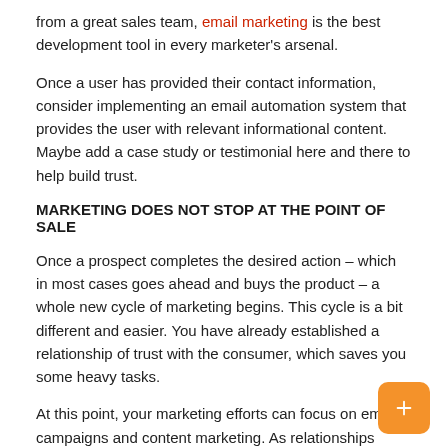from a great sales team, email marketing is the best development tool in every marketer's arsenal.
Once a user has provided their contact information, consider implementing an email automation system that provides the user with relevant informational content. Maybe add a case study or testimonial here and there to help build trust.
MARKETING DOES NOT STOP AT THE POINT OF SALE
Once a prospect completes the desired action – which in most cases goes ahead and buys the product – a whole new cycle of marketing begins. This cycle is a bit different and easier. You have already established a relationship of trust with the consumer, which saves you some heavy tasks.
At this point, your marketing efforts can focus on email campaigns and content marketing. As relationships improve, opportunities to upsell and cross-sell to your customers will arise.
FINAL THOUGHTS